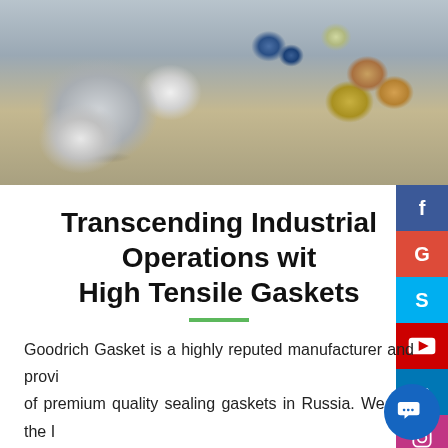[Figure (photo): Various industrial sealing gaskets and rings of different sizes, colors, and materials including metallic, blue, green, copper-tone, and gold-colored rings arranged on a surface.]
Transcending Industrial Operations with High Tensile Gaskets
Goodrich Gasket is a highly reputed manufacturer and provider of premium quality sealing gaskets in Russia. We are the ISO 9001:2015 certified company currently designing and manufacturing a wide range of sealing gaskets using the latest technology.